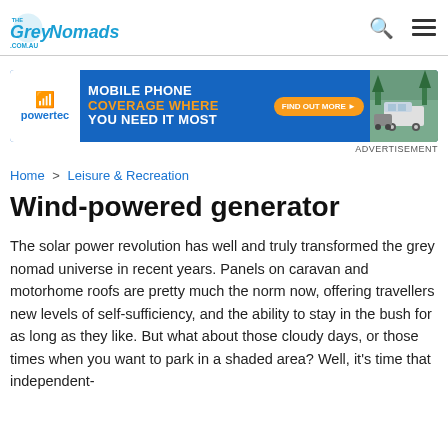The Grey Nomads .com.au
[Figure (infographic): Powertec advertisement banner: Mobile Phone Coverage Where You Need It Most. Blue background with orange accent text and a photo of a motorhome in bushland.]
ADVERTISEMENT
Home > Leisure & Recreation
Wind-powered generator
The solar power revolution has well and truly transformed the grey nomad universe in recent years. Panels on caravan and motorhome roofs are pretty much the norm now, offering travellers new levels of self-sufficiency, and the ability to stay in the bush for as long as they like. But what about those cloudy days, or those times when you want to park in a shaded area? Well, it's time that independent-